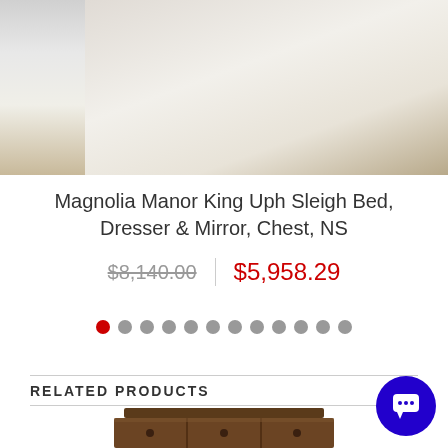[Figure (photo): Partial view of a white upholstered king sleigh bed on a light rug with wood floor, cropped at top]
Magnolia Manor King Uph Sleigh Bed, Dresser & Mirror, Chest, NS
$8,140.00 | $5,958.29
[Figure (other): Carousel pagination dots — one red active dot followed by 11 gray dots]
RELATED PRODUCTS
[Figure (photo): Bottom portion of a dark wood furniture piece (dresser or chest) shown at the bottom of the page]
[Figure (other): Blue circular chat/support button with speech bubble icon in bottom-right corner]